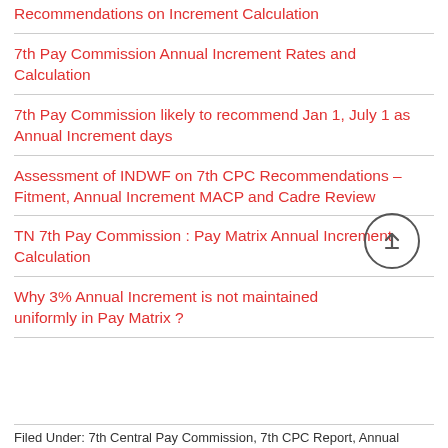Recommendations on Increment Calculation
7th Pay Commission Annual Increment Rates and Calculation
7th Pay Commission likely to recommend Jan 1, July 1 as Annual Increment days
Assessment of INDWF on 7th CPC Recommendations – Fitment, Annual Increment MACP and Cadre Review
TN 7th Pay Commission : Pay Matrix Annual Increment Calculation
Why 3% Annual Increment is not maintained uniformly in Pay Matrix ?
Filed Under: 7th Central Pay Commission, 7th CPC Report, Annual